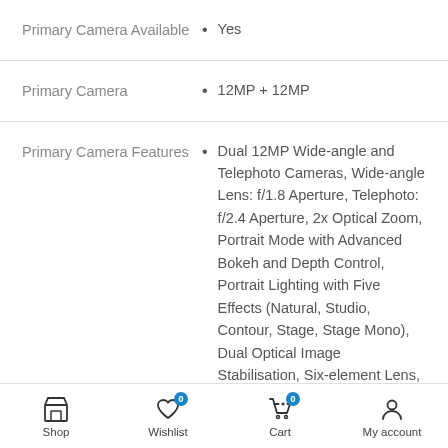Primary Camera Available
Yes
Primary Camera
12MP + 12MP
Primary Camera Features
Dual 12MP Wide-angle and Telephoto Cameras, Wide-angle Lens: f/1.8 Aperture, Telephoto: f/2.4 Aperture, 2x Optical Zoom, Portrait Mode with Advanced Bokeh and Depth Control, Portrait Lighting with Five Effects (Natural, Studio, Contour, Stage, Stage Mono), Dual Optical Image Stabilisation, Six-element Lens, Panorama (upto 63MP), Sapphire...
Shop | Wishlist 0 | Cart 0 | My account